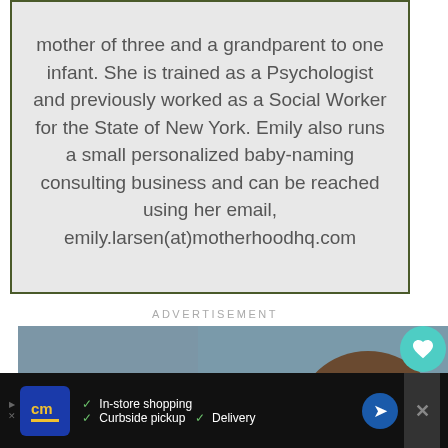mother of three and a grandparent to one infant. She is trained as a Psychologist and previously worked as a Social Worker for the State of New York. Emily also runs a small personalized baby-naming consulting business and can be reached using her email, emily.larsen(at)motherhoodhq.com
ADVERTISEMENT
[Figure (photo): Photo of a young Asian child smiling, inside a classroom setting. Below the photo is a bottom advertisement bar for a store with checkmarks listing 'In-store shopping', 'Curbside pickup', and 'Delivery'.]